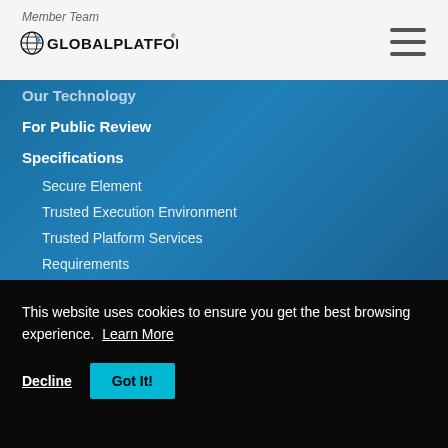GlobalPlatform
Our Technology
For Public Review
Specifications
Secure Element
Trusted Execution Environment
Trusted Platform Services
Requirements
IoTopia Framework
MUD File Service
Archived Documents
This website uses cookies to ensure you get the best browsing experience. Learn More
Decline | Got It!